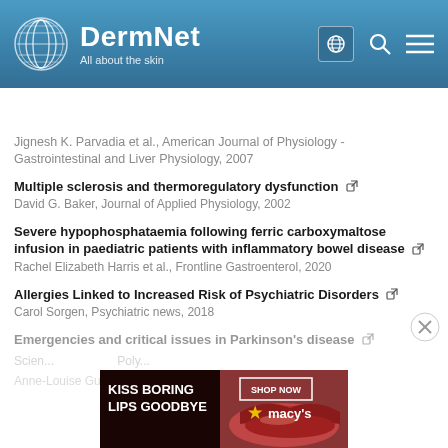DermNet — All about the skin
Table of contents
Jignesh K. Parvadia et al., American Journal of Physiology - Gastrointestinal and Liver Physiology, 2007
Multiple sclerosis and thermoregulatory dysfunction
David G. Baker, Journal of Applied Physiology, 2002
Severe hypophosphataemia following ferric carboxymaltose infusion in paediatric patients with inflammatory bowel disease
Rachel Elizabeth Harris et al., Frontline Gastroenterol, 2020
Allergies Linked to Increased Risk of Psychiatric Disorders
Carol Sorgen, Psychiatric news, 2018
Emergencies and critical issues in Parkinson's disease
Scien... Poly...
Anne-Louise Guldner et al., ...phology, 2020
[Figure (photo): Macy's lip product advertisement banner with text 'KISS BORING LIPS GOODBYE' and 'SHOP NOW macy's']